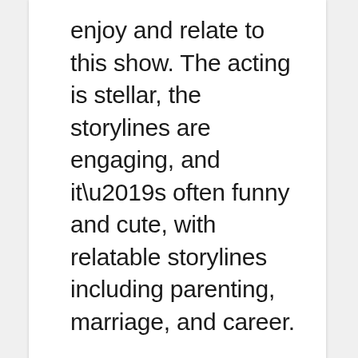enjoy and relate to this show. The acting is stellar, the storylines are engaging, and it’s often funny and cute, with relatable storylines including parenting, marriage, and career.